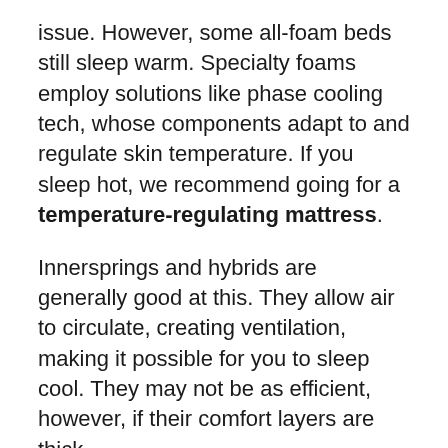issue. However, some all-foam beds still sleep warm. Specialty foams employ solutions like phase cooling tech, whose components adapt to and regulate skin temperature. If you sleep hot, we recommend going for a temperature-regulating mattress.
Innersprings and hybrids are generally good at this. They allow air to circulate, creating ventilation, making it possible for you to sleep cool. They may not be as efficient, however, if their comfort layers are thick.
Edge Support & Sinkage
Having stable and sturdy edges has a couple of benefits. First, it prevents your bed from